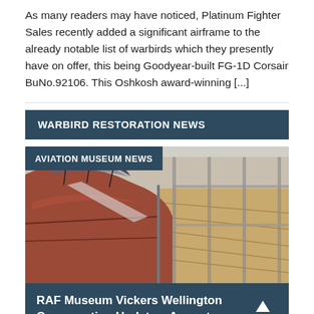As many readers may have noticed, Platinum Fighter Sales recently added a significant airframe to the already notable list of warbirds which they presently have on offer, this being Goodyear-built FG-1D Corsair BuNo.92106. This Oshkosh award-winning [...]
WARBIRD RESTORATION NEWS
AVIATION MUSEUM NEWS
[Figure (photo): Photo of a large aircraft fuselage undergoing conservation/restoration work, showing the curved top of the fuselage with a cockpit canopy area, scaffolding/wooden walkways alongside, inside a hangar or workshop.]
RAF Museum Vickers Wellington Conservation Update – August,